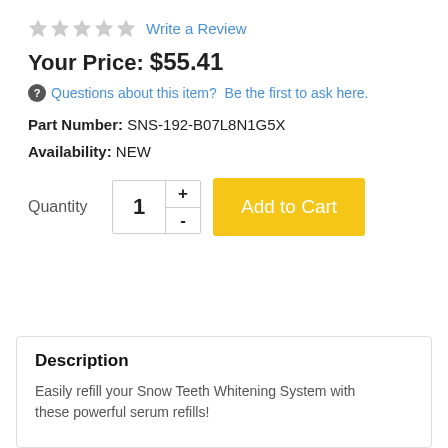★★★★★ Write a Review
Your Price: $55.41
Questions about this item? Be the first to ask here.
Part Number: SNS-192-B07L8N1G5X
Availability: NEW
Quantity 1 + - Add to Cart
Description
Easily refill your Snow Teeth Whitening System with these powerful serum refills!